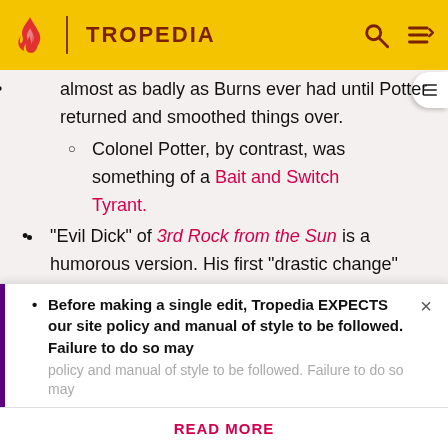TROPEDIA
almost as badly as Burns ever had until Potter returned and smoothed things over.
Colonel Potter, by contrast, was something of a Bait and Switch Tyrant.
"Evil Dick" of 3rd Rock from the Sun is a humorous version. His first "drastic change" was to move a gnome from a coffee table to a dresser.
Queeg in the self titled episode of Red Dwarf. Subverted because he is actually an alter ego of Holly, created to show the crew how good they have it with him. Guess he knew this trope.
Before making a single edit, Tropedia EXPECTS our site policy and manual of style to be followed. Failure to do so may
READ MORE